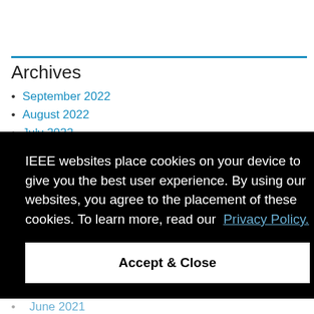Archives
September 2022
August 2022
July 2022
IEEE websites place cookies on your device to give you the best user experience. By using our websites, you agree to the placement of these cookies. To learn more, read our Privacy Policy.
Accept & Close
June 2021